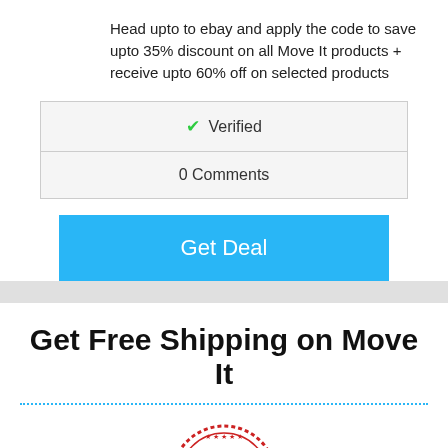Head upto to ebay and apply the code to save upto 35% discount on all Move It products + receive upto 60% off on selected products
✔ Verified
0 Comments
Get Deal
Get Free Shipping on Move It
[Figure (illustration): Red 'GREAT DEAL' stamp/seal badge with text GREAT DEAL in bold red letters on a ribbon banner, surrounded by a circular seal with stars]